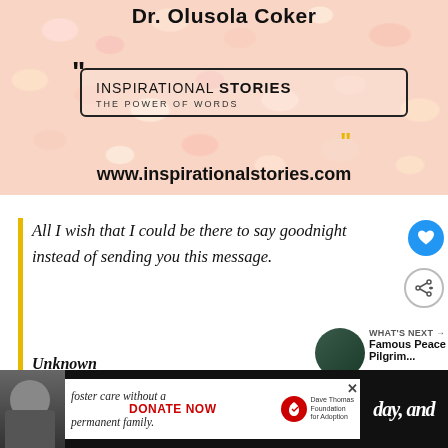[Figure (photo): Inspirational Stories website banner with marshmallow background, showing Dr. Olusola Coker, a quotation box with 'INSPIRATIONAL STORIES THE POWER OF WORDS', and website URL www.inspirationalstories.com]
All I wish that I could be there to say goodnight instead of sending you this message.
Unknown
WHAT'S NEXT → Famous Peace Pilgrim...
[Figure (photo): Advertisement for Dave Thomas Foundation for Adoption: foster care without a permanent family. DONATE NOW]
day, and